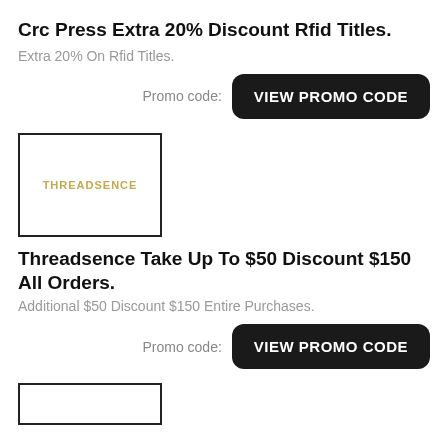Crc Press Extra 20% Discount Rfid Titles.
Extra 20% On Rfid Titles.
Promo code: VIEW PROMO CODE
[Figure (logo): Threadsence brand logo in gold/yellow text on white background with black border]
Threadsence Take Up To $50 Discount $150 All Orders.
Additional $50 Discount $150 Entire Purchases.
Promo code: VIEW PROMO CODE
[Figure (logo): Partial logo box visible at bottom of page]